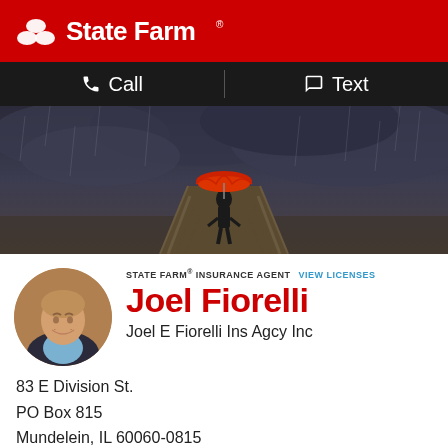[Figure (logo): State Farm logo — red background with white three-oval icon and 'State Farm' wordmark]
Call  Text
[Figure (photo): Black and white dramatic hero photo of a person standing on a long pier in the rain holding a red umbrella, with stormy skies overhead]
[Figure (photo): Circular headshot of Joel Fiorelli, a smiling middle-aged man in a dark blazer]
STATE FARM® INSURANCE AGENT VIEW LICENSES
Joel Fiorelli
Joel E Fiorelli Ins Agcy Inc
83 E Division St.
PO Box 815
Mundelein, IL 60060-0815
S/W Corner of Division & Seymour St
Map & Directions  Contact Us